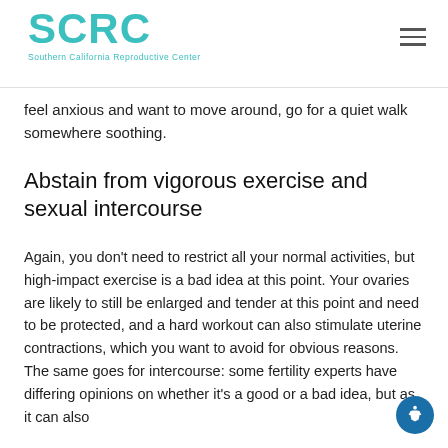SCRC Southern California Reproductive Center
feel anxious and want to move around, go for a quiet walk somewhere soothing.
Abstain from vigorous exercise and sexual intercourse
Again, you don't need to restrict all your normal activities, but high-impact exercise is a bad idea at this point. Your ovaries are likely to still be enlarged and tender at this point and need to be protected, and a hard workout can also stimulate uterine contractions, which you want to avoid for obvious reasons. The same goes for intercourse: some fertility experts have differing opinions on whether it's a good or a bad idea, but as it can also